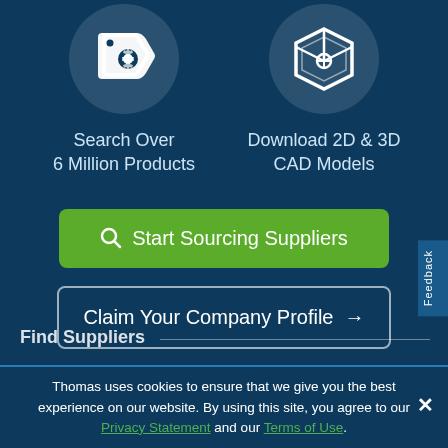[Figure (illustration): Price tag icon with gear symbol inside, on a dark circular background]
[Figure (illustration): 3D CAD box/cube icon on a dark circular background]
Search Over
6 Million Products
Download 2D & 3D
CAD Models
Start Sourcing Suppliers
Claim Your Company Profile →
Feedback
Thomas uses cookies to ensure that we give you the best experience on our website. By using this site, you agree to our Privacy Statement and our Terms of Use.